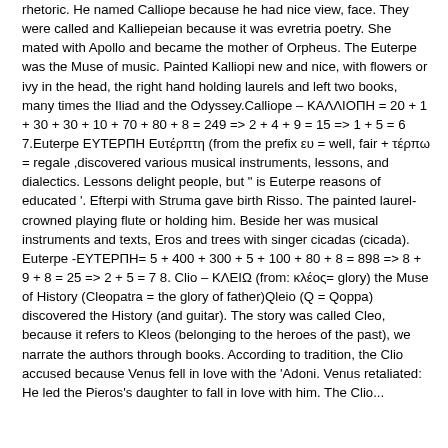rhetoric. He named Calliope because he had nice view, face. They were called and Kalliepeian because it was evretria poetry. She mated with Apollo and became the mother of Orpheus. The Euterpe was the Muse of music. Painted Kalliopi new and nice, with flowers or ivy in the head, the right hand holding laurels and left two books, many times the Iliad and the Odyssey.Calliope – ΚΑΛΛΙΟΠΗ = 20 + 1 + 30 + 30 + 10 + 70 + 80 + 8 = 249 => 2 + 4 + 9 = 15 => 1 + 5 = 6 7.Euterpe ΕΥΤΕΡΠΗ Ευτέρπτη (from the prefix ευ = well, fair + τέρπω = regale ,discovered various musical instruments, lessons, and dialectics. Lessons delight people, but " is Euterpe reasons of educated '. Efterpi with Struma gave birth Risso. The painted laurel-crowned playing flute or holding him. Beside her was musical instruments and texts, Eros and trees with singer cicadas (cicada). Euterpe -ΕΥΤΕΡΠΗ= 5 + 400 + 300 + 5 + 100 + 80 + 8 = 898 => 8 + 9 + 8 = 25 => 2 + 5 = 7 8. Clio – ΚΛΕΙΩ (from: κλέος= glory) the Muse of History (Cleopatra = the glory of father)Qleio (Q = Qoppa) discovered the History (and guitar). The story was called Cleo, because it refers to Kleos (belonging to the heroes of the past), we narrate the authors through books. According to tradition, the Clio accused because Venus fell in love with the 'Adoni. Venus retaliated: He led the Pieros's daughter to fall in love with him. The Clio...